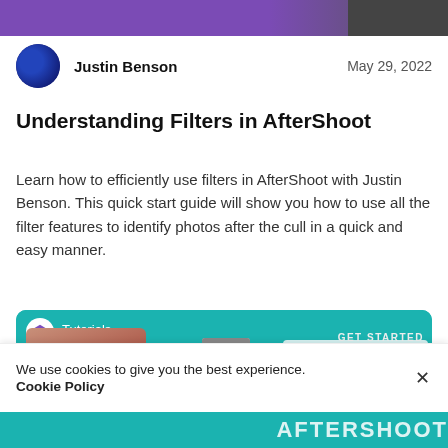[Figure (photo): Top banner image strip with purple gradient on left and dark image area on right]
Justin Benson
May 29, 2022
Understanding Filters in AfterShoot
Learn how to efficiently use filters in AfterShoot with Justin Benson. This quick start guide will show you how to use all the filter features to identify photos after the cull in a quick and easy manner.
[Figure (screenshot): Tutorial video thumbnail with teal background, presenter on left, photo examples in center, and 'GET STARTED CULLING PHOTOS' text on right with AfterShoot logo]
We use cookies to give you the best experience.
Cookie Policy
[Figure (photo): Bottom strip showing AFTERSHOOT text on teal/dark background]